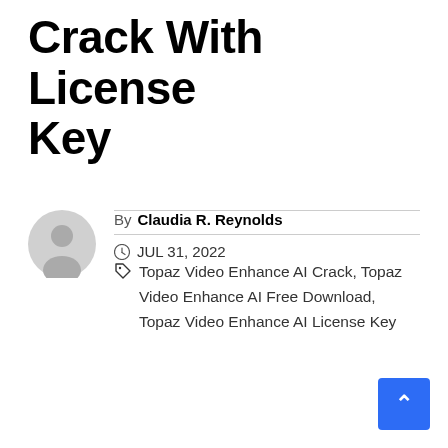Crack With License Key
By Claudia R. Reynolds
JUL 31, 2022  Topaz Video Enhance AI Crack, Topaz Video Enhance AI Free Download, Topaz Video Enhance AI License Key